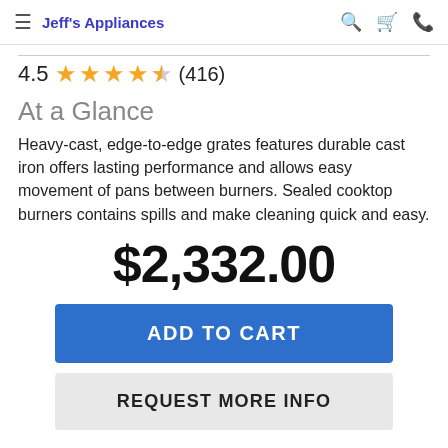Jeff's Appliances
4.5 (416)
At a Glance
Heavy-cast, edge-to-edge grates features durable cast iron offers lasting performance and allows easy movement of pans between burners. Sealed cooktop burners contains spills and make cleaning quick and easy.
$2,332.00
ADD TO CART
REQUEST MORE INFO